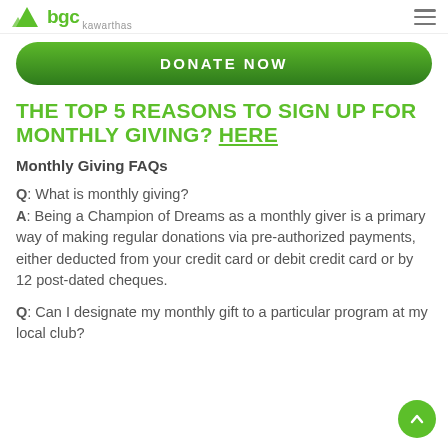BGC Kawarthas
[Figure (other): Green DONATE NOW button with rounded pill shape]
THE TOP 5 REASONS TO SIGN UP FOR MONTHLY GIVING? HERE
Monthly Giving FAQs
Q: What is monthly giving?
A: Being a Champion of Dreams as a monthly giver is a primary way of making regular donations via pre-authorized payments, either deducted from your credit card or debit credit card or by 12 post-dated cheques.
Q: Can I designate my monthly gift to a particular program at my local club?